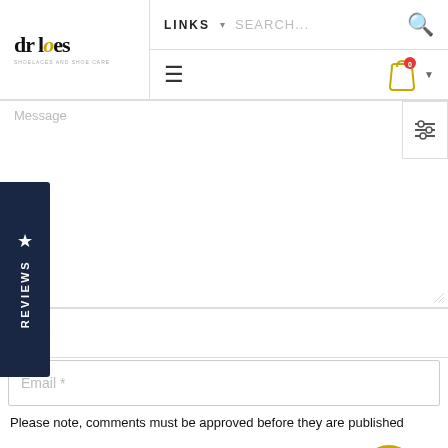[Figure (screenshot): Website header with dr laces logo, LINKS navigation, SEARCH bar with magnifying glass icon, hamburger menu, shopping cart icon with 0 badge and dropdown arrow]
[Figure (screenshot): Message textarea input field (partially visible at top), filter/settings icon button on right side]
[Figure (screenshot): Reviews sidebar widget on left side with star icon and vertical REVIEWS text in dark navy background]
Message
Name *
Email *
Please note, comments must be approved before they are published
[Figure (screenshot): Post comment button (yellow/gold), close X button (gold circle), back to top button (dark with gold chevron)]